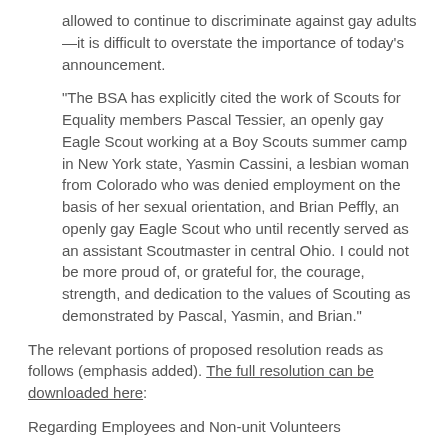allowed to continue to discriminate against gay adults—it is difficult to overstate the importance of today's announcement.
“The BSA has explicitly cited the work of Scouts for Equality members Pascal Tessier, an openly gay Eagle Scout working at a Boy Scouts summer camp in New York state, Yasmin Cassini, a lesbian woman from Colorado who was denied employment on the basis of her sexual orientation, and Brian Peffly, an openly gay Eagle Scout who until recently served as an assistant Scoutmaster in central Ohio. I could not be more proud of, or grateful for, the courage, strength, and dedication to the values of Scouting as demonstrated by Pascal, Yasmin, and Brian.”
The relevant portions of proposed resolution reads as follows (emphasis added). The full resolution can be downloaded here:
Regarding Employees and Non-unit Volunteers
[…]
Adult leaders in the programs of the Boy Scouts of America must (a) subscribe to and abide by the